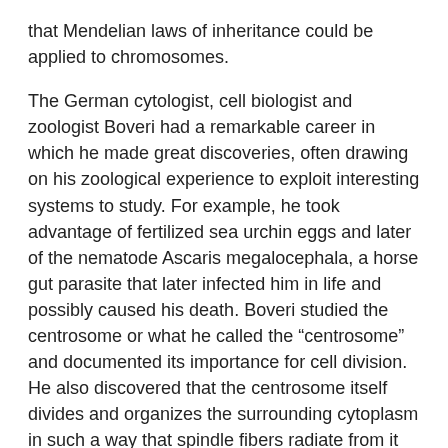that Mendelian laws of inheritance could be applied to chromosomes.
The German cytologist, cell biologist and zoologist Boveri had a remarkable career in which he made great discoveries, often drawing on his zoological experience to exploit interesting systems to study. For example, he took advantage of fertilized sea urchin eggs and later of the nematode Ascaris megalocephala, a horse gut parasite that later infected him in life and possibly caused his death. Boveri studied the centrosome or what he called the “centrosome” and documented its importance for cell division. He also discovered that the centrosome itself divides and organizes the surrounding cytoplasm in such a way that spindle fibers radiate from it and come into contact with the chromosomes. Premonitory Boveri also published a lesser known study in which he proposed that aberrant chromosomes might even be responsible for the generation of cancers in his 1914 book “Concerning the Origin of Malignant Tumors”.